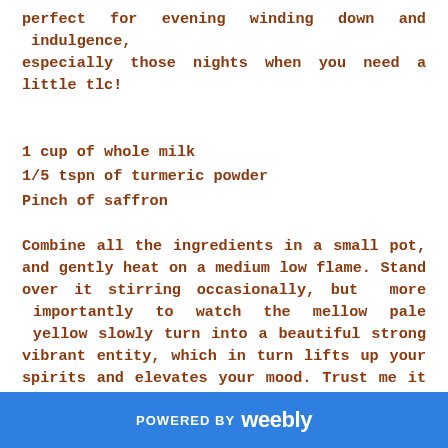perfect for evening winding down and indulgence, especially those nights when you need a little tlc!
1 cup of whole milk
1/5 tspn of turmeric powder
Pinch of saffron
Combine all the ingredients in a small pot, and gently heat on a medium low flame. Stand over it stirring occasionally, but more importantly to watch the mellow pale yellow slowly turn into a beautiful strong vibrant entity, which in turn lifts up your spirits and elevates your mood. Trust me it does happen, so don't rush around doing other things while this boils away, stay with it and let it heal you completely.
Bring it to a boil then switch it off, pour into your favourite mug, and add a touch of honey if you please. Retreat into
POWERED BY weebly